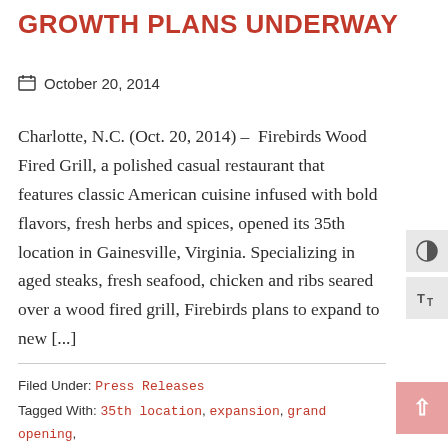GROWTH PLANS UNDERWAY
October 20, 2014
Charlotte, N.C. (Oct. 20, 2014) – Firebirds Wood Fired Grill, a polished casual restaurant that features classic American cuisine infused with bold flavors, fresh herbs and spices, opened its 35th location in Gainesville, Virginia. Specializing in aged steaks, fresh seafood, chicken and ribs seared over a wood fired grill, Firebirds plans to expand to new [...]
Filed Under: Press Releases
Tagged With: 35th location, expansion, grand opening, growth